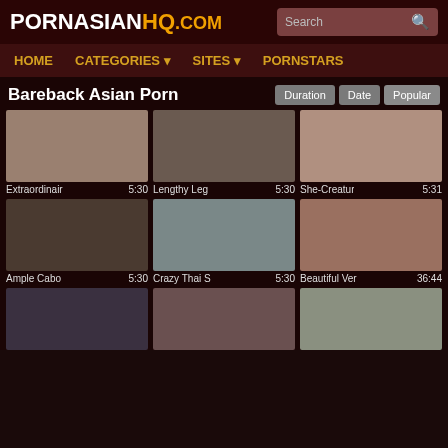PORNasianhq.COM
Bareback Asian Porn
Duration | Date | Popular
[Figure (screenshot): Video thumbnail grid showing adult content videos with titles: Extraordinair 5:30, Lengthy Leg 5:30, She-Creatur 5:31, Ample Cabo 5:30, Crazy Thai S 5:30, Beautiful Ver 36:44, and three more partial thumbnails]
Extraordinair 5:30 | Lengthy Leg 5:30 | She-Creatur 5:31 | Ample Cabo 5:30 | Crazy Thai S 5:30 | Beautiful Ver 36:44